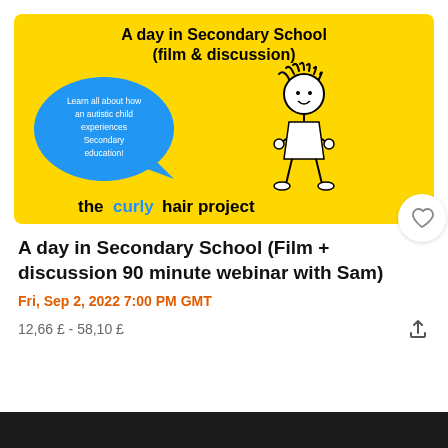[Figure (illustration): Yellow banner for 'the curly hair project' event. Bold black title 'A day in Secondary School (film & discussion)' at top. Blue speech bubble on the left with text 'Learn all about how an autistic child experiences Secondary education!' and a stick figure drawing of a girl with curly hair on the right. Bottom reads 'the curly hair project' with 'curly' in blue. A heart icon button is at the bottom right.]
A day in Secondary School (Film + discussion 90 minute webinar with Sam)
Fri, Sep 2, 2022 7:00 PM GMT
12,66 £ - 58,10 £